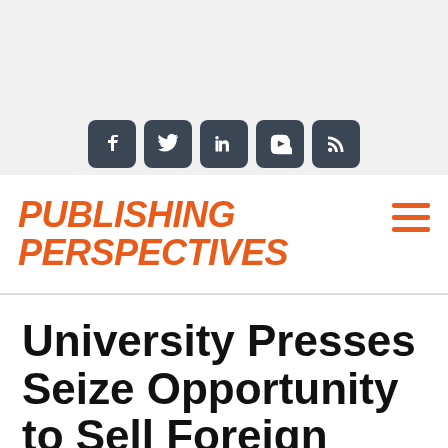[Figure (screenshot): Gray top banner area with social media icons: Facebook, Twitter, LinkedIn, YouTube, RSS]
Publishing Perspectives
University Presses Seize Opportunity to Sell Foreign Rights